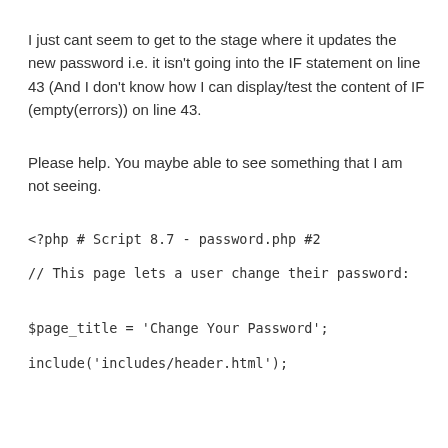I just cant seem to get to the stage where it updates the new password i.e. it isn't going into the IF statement on line 43 (And I don't know how I can display/test the content of IF (empty(errors)) on line 43.
Please help. You maybe able to see something that I am not seeing.
<?php # Script 8.7 - password.php #2

// This page lets a user change their password:


$page_title = 'Change Your Password';

include('includes/header.html');